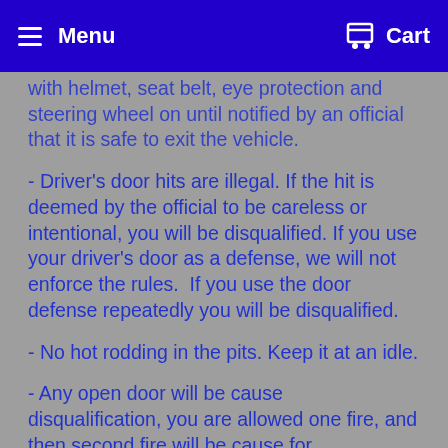Menu  Cart
COMPLETION RULES: - Drivers must remain in the vehicle with helmet, seat belt, eye protection and steering wheel on until notified by an official that it is safe to exit the vehicle.
- Driver's door hits are illegal. If the hit is deemed by the official to be careless or intentional, you will be disqualified. If you use your driver's door as a defense, we will not enforce the rules.  If you use the door defense repeatedly you will be disqualified.
- No hot rodding in the pits. Keep it at an idle.
- Any open door will be cause disqualification, you are allowed one fire, and then second fire will be cause for disqualification. You may return in later rounds.
- Sandbagging is not tolerated and will be strictly enforced. Locking up the brakes prior to a hit for anything other than